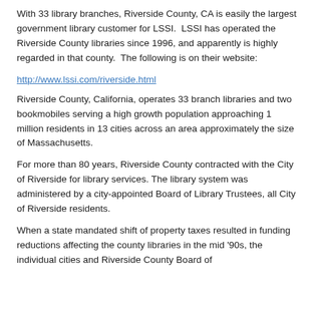With 33 library branches, Riverside County, CA is easily the largest government library customer for LSSI.  LSSI has operated the Riverside County libraries since 1996, and apparently is highly regarded in that county.  The following is on their website:
http://www.lssi.com/riverside.html
Riverside County, California, operates 33 branch libraries and two bookmobiles serving a high growth population approaching 1 million residents in 13 cities across an area approximately the size of Massachusetts.
For more than 80 years, Riverside County contracted with the City of Riverside for library services. The library system was administered by a city-appointed Board of Library Trustees, all City of Riverside residents.
When a state mandated shift of property taxes resulted in funding reductions affecting the county libraries in the mid '90s, the individual cities and Riverside County Board of